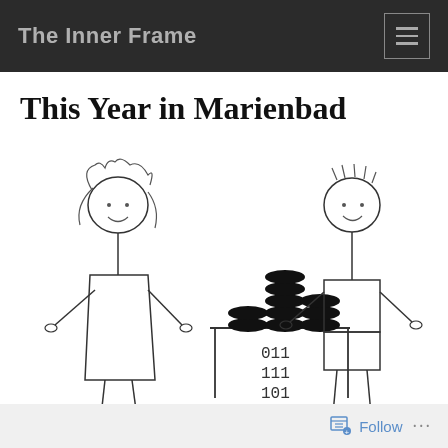The Inner Frame
This Year in Marienbad
[Figure (illustration): Hand-drawn stick figure illustration showing two characters (a girl with wavy hair on the left wearing a dress, and a boy on the right wearing shorts) with a table between them displaying stacked black discs/tokens in three columns. Below the table are three rows of numbers: 011, 111, 101.]
Follow